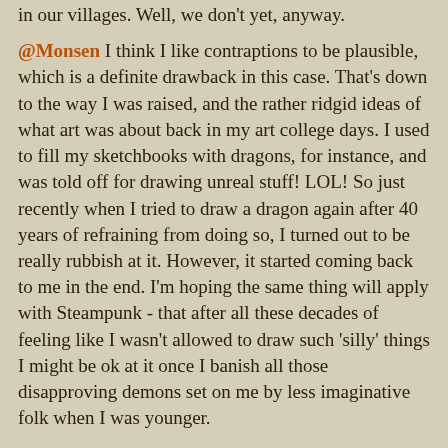in our villages. Well, we don't yet, anyway.
@Monsen I think I like contraptions to be plausible, which is a definite drawback in this case. That's down to the way I was raised, and the rather ridgid ideas of what art was about back in my art college days. I used to fill my sketchbooks with dragons, for instance, and was told off for drawing unreal stuff! LOL! So just recently when I tried to draw a dragon again after 40 years of refraining from doing so, I turned out to be really rubbish at it. However, it started coming back to me in the end. I'm hoping the same thing will apply with Steampunk - that after all these decades of feeling like I wasn't allowed to draw such 'silly' things I might be ok at it once I banish all those disapproving demons set on me by less imaginative folk when I was younger.
Thank you for those links. I remember you mentioning that world before at some point. Interesting that Lego actually got involved. It's the last company I would associate with Steampunk. Well, if they can do it, so can I.
Combining what you say about overland maps with what Julian...